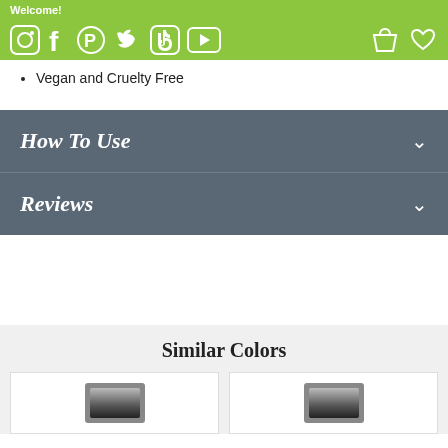Welcome!
[Figure (screenshot): Social media icons bar with Instagram, Facebook, Pinterest, Twitter, TikTok, YouTube on left; shopping bag and heart icons on right, all on green background]
Vegan and Cruelty Free
How To Use
Reviews
Similar Colors
[Figure (photo): Two product containers partially visible at bottom of page]